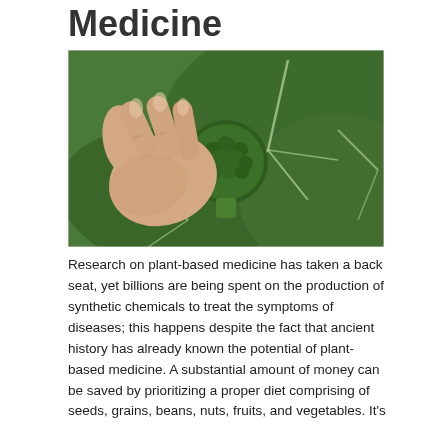Medicine
[Figure (photo): A hand holding a small broccoli head growing in a garden among large green leaves with prominent white veins.]
Research on plant-based medicine has taken a back seat, yet billions are being spent on the production of synthetic chemicals to treat the symptoms of diseases; this happens despite the fact that ancient history has already known the potential of plant-based medicine. A substantial amount of money can be saved by prioritizing a proper diet comprising of seeds, grains, beans, nuts, fruits, and vegetables. It's